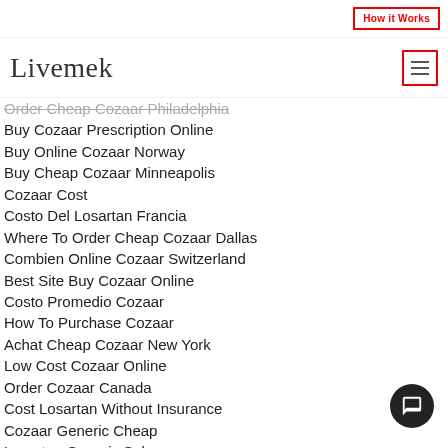How it Works
Livemek
Order Cheap Cozaar Philadelphia
Buy Cozaar Prescription Online
Buy Online Cozaar Norway
Buy Cheap Cozaar Minneapolis
Cozaar Cost
Costo Del Losartan Francia
Where To Order Cheap Cozaar Dallas
Combien Online Cozaar Switzerland
Best Site Buy Cozaar Online
Costo Promedio Cozaar
How To Purchase Cozaar
Achat Cheap Cozaar New York
Low Cost Cozaar Online
Order Cozaar Canada
Cost Losartan Without Insurance
Cozaar Generic Cheap
Losartan Generic Sales
Losartan Pharmacy Cost
Where To Order Online Cozaar Utrecht